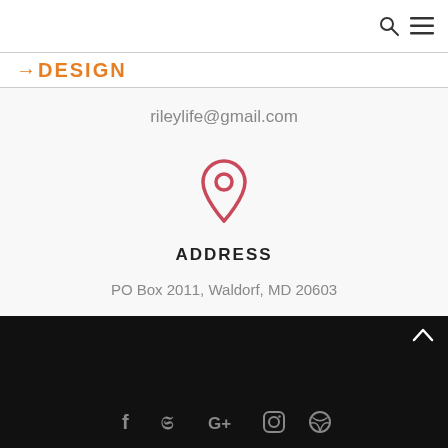search and menu icons
[Figure (logo): DESIGN logo in orange bold text with arrow character]
rileylife@gmail.com
[Figure (illustration): Red/pink map pin location icon]
ADDRESS
PO Box 2011, Waldorf, MD 20603
Social media icons: Facebook, Twitter, Google+, Instagram, Dribbble